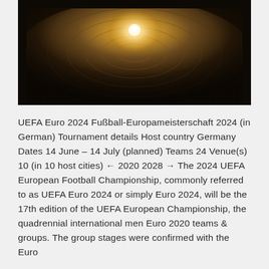[Figure (photo): A dark tunnel-like interior with a bright glowing light bulb visible at the center top, surrounded by concentric circular patterns in warm brown/sepia tones.]
UEFA Euro 2024 Fußball-Europameisterschaft 2024 (in German) Tournament details Host country Germany Dates 14 June – 14 July (planned) Teams 24 Venue(s) 10 (in 10 host cities) ← 2020 2028 → The 2024 UEFA European Football Championship, commonly referred to as UEFA Euro 2024 or simply Euro 2024, will be the 17th edition of the UEFA European Championship, the quadrennial international men Euro 2020 teams & groups. The group stages were confirmed with the Euro